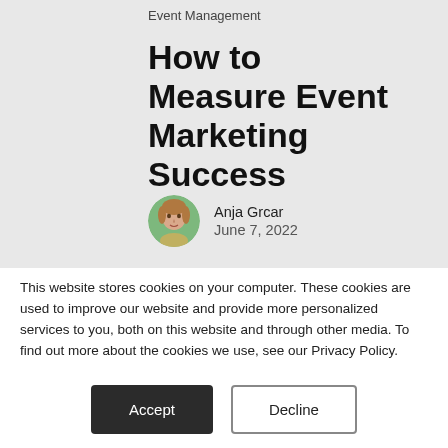Event Management
How to Measure Event Marketing Success
Anja Grcar
June 7, 2022
This website stores cookies on your computer. These cookies are used to improve our website and provide more personalized services to you, both on this website and through other media. To find out more about the cookies we use, see our Privacy Policy.
Accept
Decline